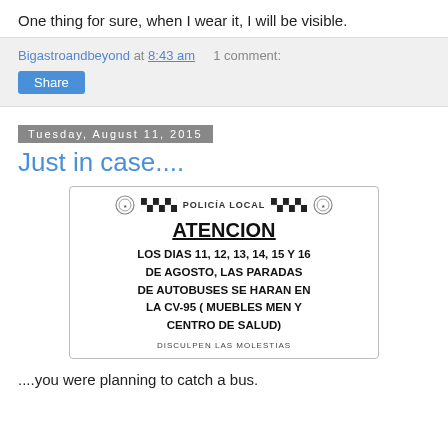One thing for sure, when I wear it, I will be visible.
Bigastroandbeyond at 8:43 am    1 comment:
Share
Tuesday, August 11, 2015
Just in case....
[Figure (photo): Spanish Policia Local notice sign: ATENCION - LOS DIAS 11, 12, 13, 14, 15 Y 16 DE AGOSTO, LAS PARADAS DE AUTOBUSES SE HARAN EN LA CV-95 ( MUEBLES MEN Y CENTRO DE SALUD). DISCULPEN LAS MOLESTIAS]
....you were planning to catch a bus.